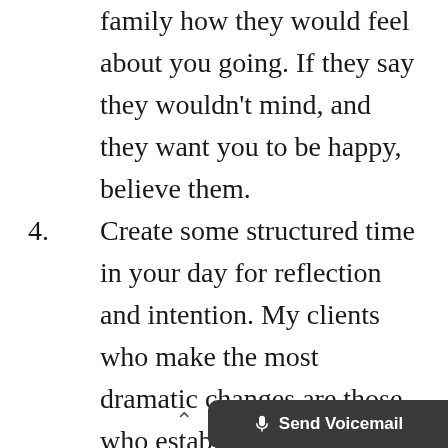family how they would feel about you going. If they say they wouldn't mind, and they want you to be happy, believe them.
4. Create some structured time in your day for reflection and intention. My clients who make the most dramatic changes are those who establish a daily journal writing practice or regular time to check in and make sure they are focused on